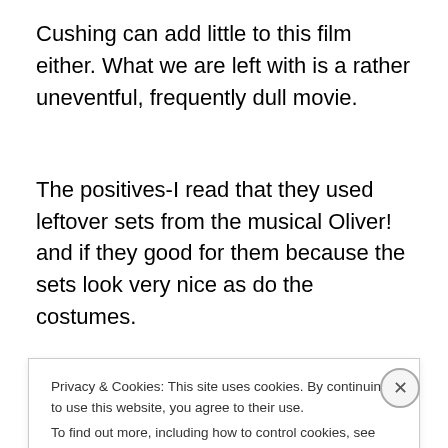Cushing can add little to this film either. What we are left with is a rather uneventful, frequently dull movie.
The positives-I read that they used leftover sets from the musical Oliver! and if they good for them because the sets look very nice as do the costumes.
Actually I had seen this film before but only once. I bought it when it first came out on DVD almost ten years ago
Privacy & Cookies: This site uses cookies. By continuing to use this website, you agree to their use.
To find out more, including how to control cookies, see here: Cookie Policy